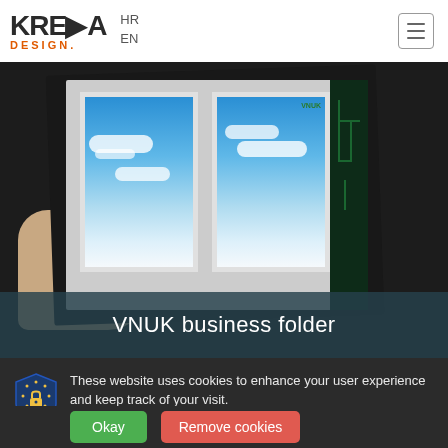KREDA DESIGN. HR EN
[Figure (photo): Photo of a person holding a black business folder with window imagery and VNUK branding, overlaid with a dark teal banner reading 'VNUK business folder']
These website uses cookies to enhance your user experience and keep track of your visit. Learn more...
Okay  Remove cookies